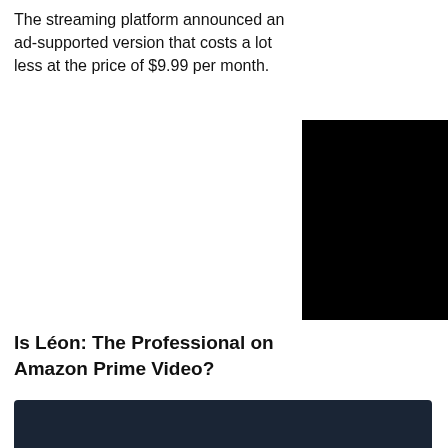The streaming platform announced an ad-supported version that costs a lot less at the price of $9.99 per month.
[Figure (other): Black redacted rectangle overlapping text and image area]
Is Léon: The Professional on Amazon Prime Video?
[Figure (logo): Amazon Prime Video logo — dark navy background with 'prime video' text in cyan/white and the Amazon smile arrow in cyan below]